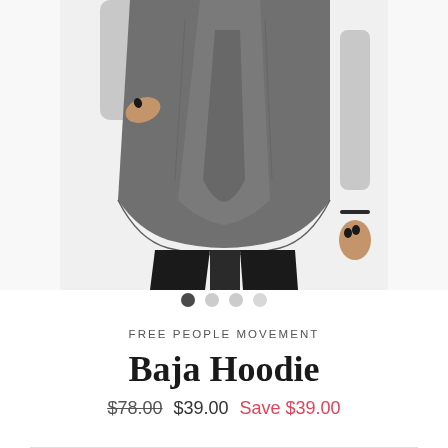[Figure (photo): A woman wearing a dark gray loose-fitting Baja Hoodie top and black leggings, photo cropped at the waist/torso area showing the drape of the fabric.]
• • • •  (image navigation dots, first filled)
FREE PEOPLE MOVEMENT
Baja Hoodie
$78.00  $39.00  Save $39.00